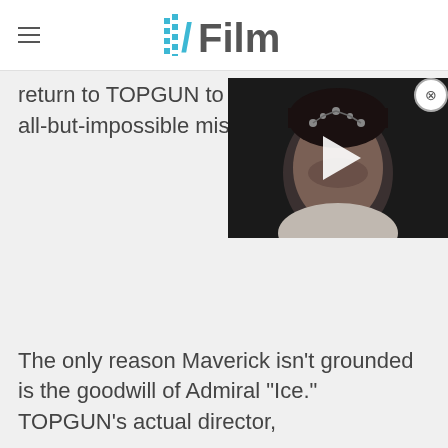/Film
return to TOPGUN to train s all-but-impossible mission.
[Figure (screenshot): Video player thumbnail showing a person's face with electrodes/clips attached, dark sci-fi setting, with a white play button triangle overlay]
The only reason Maverick isn't grounded is the goodwill of Admiral "Ice." TOPGUN's actual director,